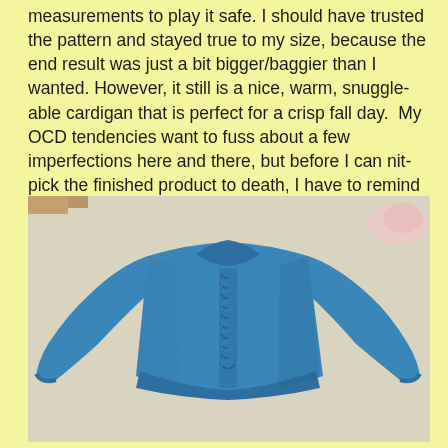measurements to play it safe. I should have trusted the pattern and stayed true to my size, because the end result was just a bit bigger/baggier than I wanted. However, it still is a nice, warm, snuggle-able cardigan that is perfect for a crisp fall day.  My OCD tendencies want to fuss about a few imperfections here and there, but before I can nit-pick the finished product to death, I have to remind myself...I knitted a sweater. That's pretty cool. Time to tackle another goal...
[Figure (photo): A blue knitted sweater/cardigan laid flat on a light carpet, showing the back with a cable knit pattern running down the center spine. The sweater has long sleeves spread out to each side.]